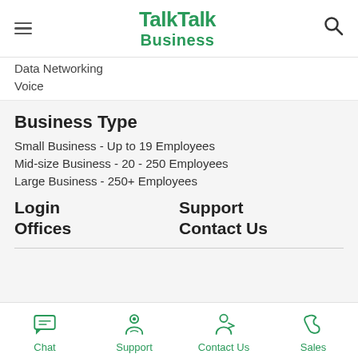TalkTalk Business
Data Networking
Voice
Business Type
Small Business - Up to 19 Employees
Mid-size Business - 20 - 250 Employees
Large Business - 250+ Employees
Login
Support
Offices
Contact Us
Chat  Support  Contact Us  Sales